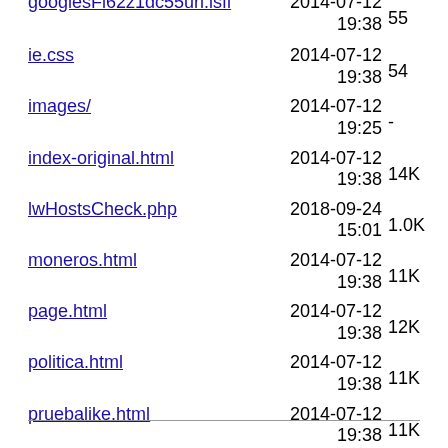googlesFl62z1dc55url.isfl  2014-07-12 19:38  55
ie.css  2014-07-12 19:38  54
images/  2014-07-12 19:25  -
index-original.html  2014-07-12 19:38  14K
lwHostsCheck.php  2018-09-24 15:01  1.0K
moneros.html  2014-07-12 19:38  11K
page.html  2014-07-12 19:38  12K
politica.html  2014-07-12 19:38  11K
pruebalike.html  2014-07-12 19:38  11K
relatos.html  2014-07-12 19:38  11K
style.css  2014-07-08 23:38  8.2K